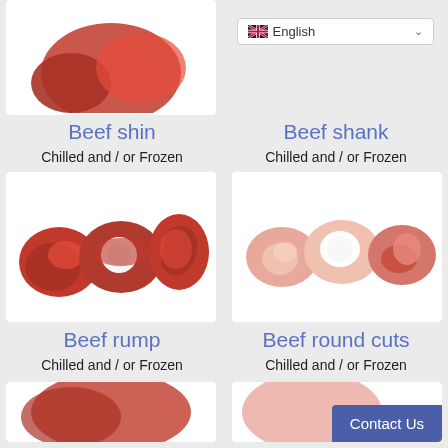[Figure (photo): Partial view of meat product image, top of page left]
[Figure (screenshot): English language dropdown selector with UK flag icon]
Beef shin
Chilled and / or Frozen
Beef shank
Chilled and / or Frozen
[Figure (photo): Three pieces of raw beef shin cuts on white background]
[Figure (photo): Three pieces of raw beef shank cuts on white background]
Beef rump
Chilled and / or Frozen
Beef round cuts
Chilled and / or Frozen
[Figure (photo): Partial view of beef rump product image at bottom left]
[Figure (photo): Partial view with Contact Us button overlay at bottom right]